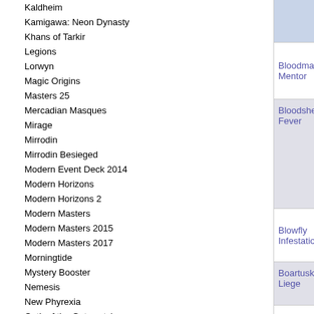Kaldheim
Kamigawa: Neon Dynasty
Khans of Tarkir
Legions
Lorwyn
Magic Origins
Masters 25
Mercadian Masques
Mirage
Mirrodin
Mirrodin Besieged
Modern Event Deck 2014
Modern Horizons
Modern Horizons 2
Modern Masters
Modern Masters 2015
Modern Masters 2017
Morningtide
Mystery Booster
Nemesis
New Phyrexia
Oath of the Gatewatch
| Card Name | Set | Rarity | Type |
| --- | --- | --- | --- |
| Bloodmark Mentor | Shadowmoor | Ver | Creature - Goblin Warrior |
| Bloodshed Fever | Shadowmoor | Ver | Enchantment - Aura |
| Blowfly Infestation | Shadowmoor | Pre | Enchantment |
| Boartusk Liege | Shadowmoor | Mul | Creature - Goblin Knight |